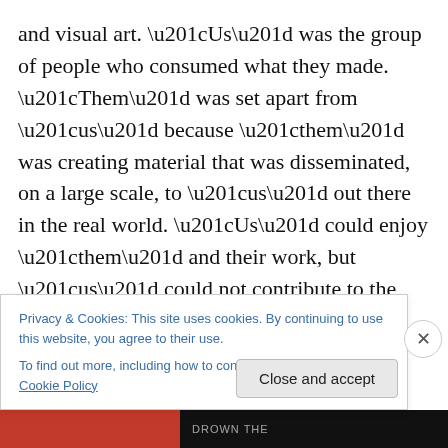and visual art. “Us” was the group of people who consumed what they made. “Them” was set apart from “us” because “them” was creating material that was disseminated, on a large scale, to “us” out there in the real world. “Us” could enjoy “them” and their work, but “us” could not contribute to the creations we loved in any appreciable fashion…But then something interesting happened: the internet took over the world, and this hard-and-fast rule slowly began to disintegrate. All of a sudden “us” was able to horn in on “them” and their creative process in a very public way—most notably in the form of
Privacy & Cookies: This site uses cookies. By continuing to use this website, you agree to their use.
To find out more, including how to control cookies, see here: Cookie Policy